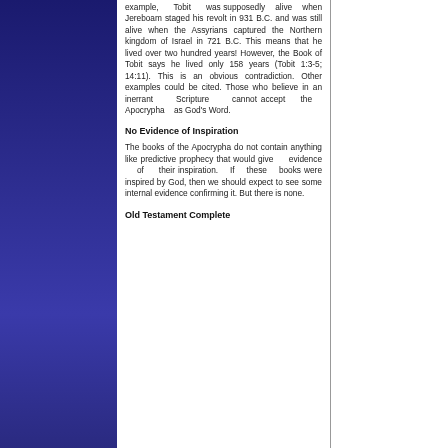example, Tobit was supposedly alive when Jereboam staged his revolt in 931 B.C. and was still alive when the Assyrians captured the Northern kingdom of Israel in 721 B.C. This means that he lived over two hundred years! However, the Book of Tobit says he lived only 158 years (Tobit 1:3-5; 14:11). This is an obvious contradiction. Other examples could be cited. Those who believe in an inerrant Scripture cannot accept the Apocrypha as God's Word.
No Evidence of Inspiration
The books of the Apocrypha do not contain anything like predictive prophecy that would give evidence of their inspiration. If these books were inspired by God, then we should expect to see some internal evidence confirming it. But there is none.
Old Testament Complete